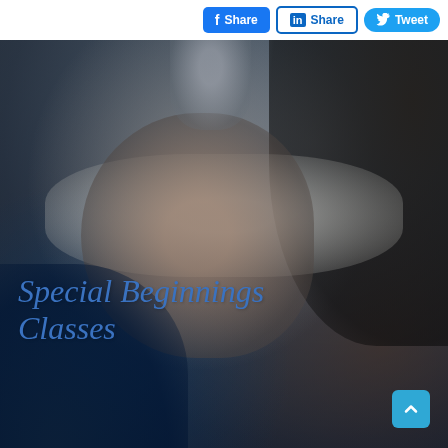Share | Share | Tweet
[Figure (photo): Hospital room photo showing a mother in a hospital bed holding and kissing a newborn baby, with another child nearby and a person in dark clothing in the foreground and right side, dimly lit scene]
Special Beginnings Classes